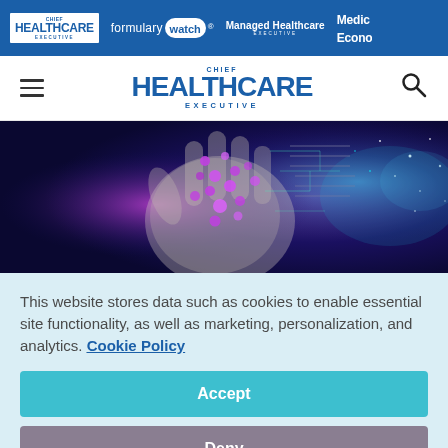Chief Healthcare Executive | Formulary Watch | Managed Healthcare Executive | Medical Economics
[Figure (logo): Chief Healthcare Executive navigation logo with site header]
[Figure (illustration): Hero banner image showing a digital hand with DNA helix and purple cosmic/tech background representing healthcare technology]
This website stores data such as cookies to enable essential site functionality, as well as marketing, personalization, and analytics. Cookie Policy
Accept
Deny